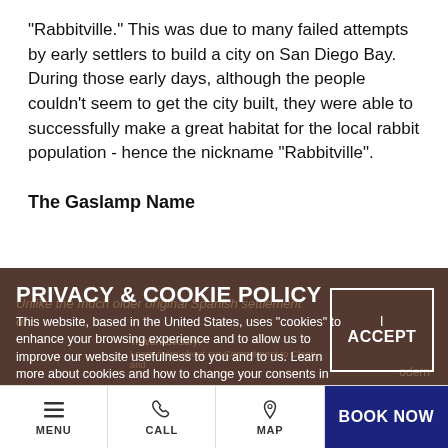"Rabbitville." This was due to many failed attempts by early settlers to build a city on San Diego Bay. During those early days, although the people couldn't seem to get the city built, they were able to successfully make a great habitat for the local rabbit population - hence the nickname “Rabbitville”.
The Gaslamp Name
PRIVACY & COOKIE POLICY
This website, based in the United States, uses "cookies" to enhance your browsing experience and to allow us to improve our website usefulness to you and to us. Learn more about cookies and how to change your consents in
[Figure (screenshot): Cookie/privacy policy overlay banner with ACCEPT button on a dark semi-transparent background over webpage content]
MENU   CALL   MAP   BOOK NOW